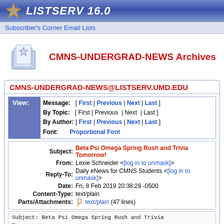LISTSERV 16.0
Subscriber's Corner   Email Lists
CMNS-UNDERGRAD-NEWS Archives
CMNS-UNDERGRAD-NEWS@LISTSERV.UMD.EDU
| View: | Message: | [ First | Previous | Next | Last ] |
|  | By Topic: | [ First | Previous | Next | Last ] |
|  | By Author: | [ First | Previous | Next | Last ] |
|  | Font: | Proportional Font |
| Subject: | Beta Psi Omega Spring Rush and Trivia Tomorrow! |
| From: | Lexie Schneider <[log in to unmask]> |
| Reply-To: | Daily eNews for CMNS Students <[log in to unmask]> |
| Date: | Fri, 8 Feb 2019 20:38:28 -0500 |
| Content-Type: | text/plain |
| Parts/Attachments: | text/plain (47 lines) |
Subject: Beta Psi Omega Spring Rush and Trivia Tomorrow!